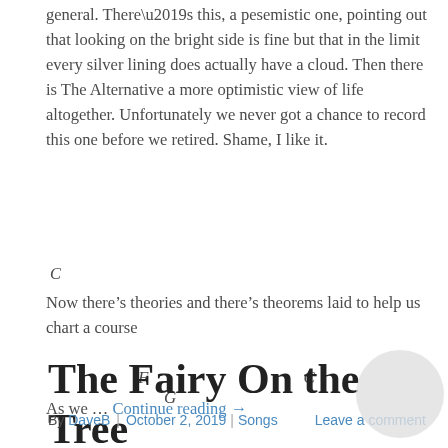general. There’s this, a pesemistic one, pointing out that looking on the bright side is fine but that in the limit every silver lining does actually have a cloud. Then there is The Alternative a more optimistic view of life altogether. Unfortunately we never got a chance to record this one before we retired. Shame, I like it.
C
Now there’s theories and there’s theorems laid to help us chart a course
F    C    G
As we … Continue reading →
The Fairy On the Tree
By DaveB | October 2, 2019 | Songs    Leave a comment